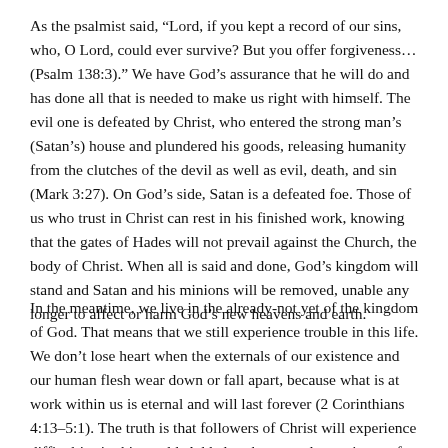As the psalmist said, “Lord, if you kept a record of our sins, who, O Lord, could ever survive? But you offer forgiveness… (Psalm 138:3).” We have God’s assurance that he will do and has done all that is needed to make us right with himself. The evil one is defeated by Christ, who entered the strong man’s (Satan’s) house and plundered his goods, releasing humanity from the clutches of the devil as well as evil, death, and sin (Mark 3:27). On God’s side, Satan is a defeated foe. Those of us who trust in Christ can rest in his finished work, knowing that the gates of Hades will not prevail against the Church, the body of Christ. When all is said and done, God’s kingdom will stand and Satan and his minions will be removed, unable any longer to affect or harm God’s new heavens and earth.
In the meantime, we live in the already-not yet of the kingdom of God. That means that we still experience trouble in this life. We don’t lose heart when the externals of our existence and our human flesh wear down or fall apart, because what is at work within us is eternal and will last forever (2 Corinthians 4:13–5:1). The truth is that followers of Christ will experience difficulties in this world. Added to the normal experience of the consequences of the fall, humanity’s turning from God, we as believers also